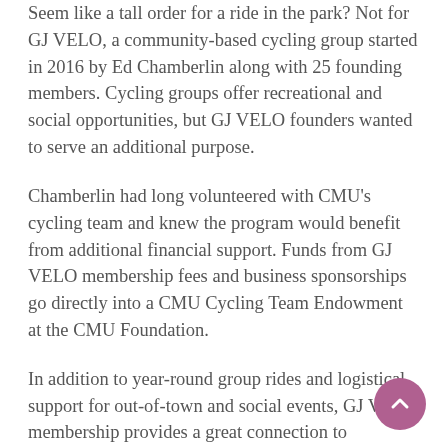Seem like a tall order for a ride in the park? Not for GJ VELO, a community-based cycling group started in 2016 by Ed Chamberlin along with 25 founding members. Cycling groups offer recreational and social opportunities, but GJ VELO founders wanted to serve an additional purpose.
Chamberlin had long volunteered with CMU's cycling team and knew the program would benefit from additional financial support. Funds from GJ VELO membership fees and business sponsorships go directly into a CMU Cycling Team Endowment at the CMU Foundation.
In addition to year-round group rides and logistical support for out-of-town and social events, GJ VELO membership provides a great connection to